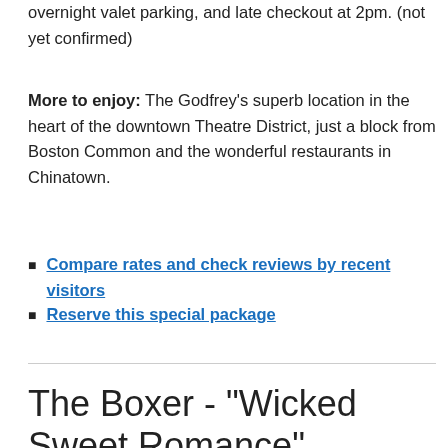overnight valet parking, and late checkout at 2pm. (not yet confirmed)
More to enjoy:  The Godfrey's superb location in the heart of the downtown Theatre District, just a block from Boston Common and the wonderful restaurants in Chinatown.
Compare rates and check reviews by recent visitors
Reserve this special package
The Boxer - "Wicked Sweet Romance" Package